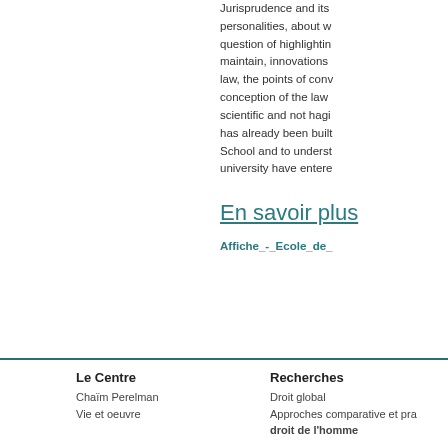Jurisprudence and its personalities, about w question of highlighting maintain, innovations law, the points of conv conception of the law scientific and not hagi has already been built School and to underst university have entere
En savoir plus
Affiche_-_Ecole_de_
Le Centre | Recherches
Chaïm Perelman | Droit global
Vie et oeuvre | Approches comparative et pra droit de l'homme